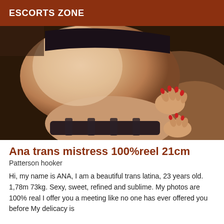ESCORTS ZONE
[Figure (photo): Close-up photo of a person's back and lower body wearing black lingerie, posed against a brown furry background.]
Ana trans mistress 100%reel 21cm
Patterson hooker
Hi, my name is ANA, I am a beautiful trans latina, 23 years old. 1,78m 73kg. Sexy, sweet, refined and sublime. My photos are 100% real I offer you a meeting like no one has ever offered you before My delicacy is